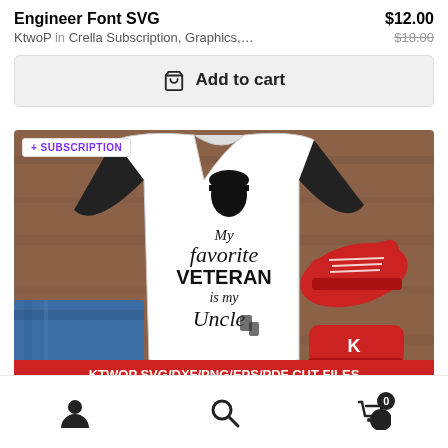Engineer Font SVG
$12.00
KtwoP in Crella Subscription, Graphics,...
$18.00
🛒 Add to cart
[Figure (photo): Photo of a child's white raglan baseball shirt with black sleeves, laid flat on a wooden surface next to red Converse sneakers and blue jeans. The shirt has an SVG graphic reading 'My favorite VETERAN is my Uncle' with a soldier silhouette. Bottom banner reads 'KTWOP SVG/DXF/PNG/EPS/PDF CUT FILES'. A badge in top-left says '+ SUBSCRIPTION'.]
User icon | Search icon | Cart icon with badge 0